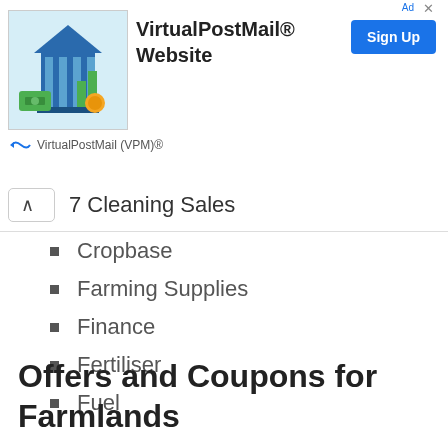[Figure (logo): VirtualPostMail ad banner with building/bank logo with money graphics, Sign Up button, brand name VirtualPostMail (VPM)®]
7 Cleaning Sales
Cropbase
Farming Supplies
Finance
Fertiliser
Fuel
Offers and Coupons for Farmlands